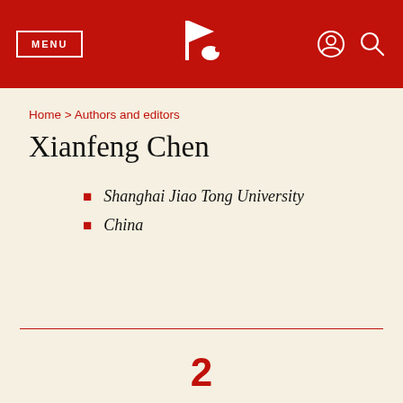MENU | [logo] | [user icon] [search icon]
Home > Authors and editors
Xianfeng Chen
Shanghai Jiao Tong University
China
2